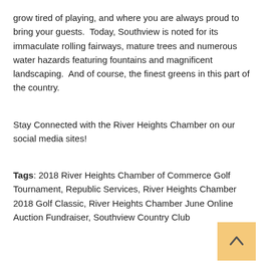grow tired of playing, and where you are always proud to bring your guests.  Today, Southview is noted for its immaculate rolling fairways, mature trees and numerous water hazards featuring fountains and magnificent landscaping.  And of course, the finest greens in this part of the country.
Stay Connected with the River Heights Chamber on our social media sites!
Tags: 2018 River Heights Chamber of Commerce Golf Tournament, Republic Services, River Heights Chamber 2018 Golf Classic, River Heights Chamber June Online Auction Fundraiser, Southview Country Club